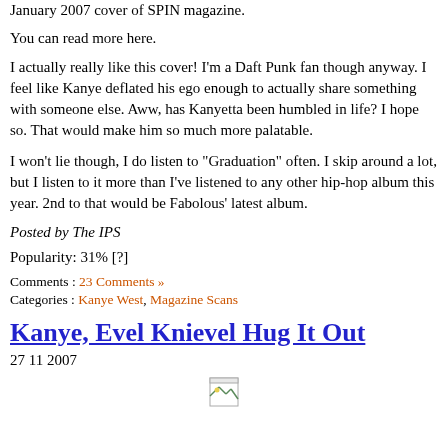January 2007 cover of SPIN magazine.
You can read more here.
I actually really like this cover! I’m a Daft Punk fan though anyway. I feel like Kanye deflated his ego enough to actually share something with someone else. Aww, has Kanyetta been humbled in life? I hope so. That would make him so much more palatable.
I won’t lie though, I do listen to “Graduation” often. I skip around a lot, but I listen to it more than I’ve listened to any other hip-hop album this year. 2nd to that would be Fabolous’ latest album.
Posted by The IPS
Popularity: 31% [?]
Comments : 23 Comments »
Categories : Kanye West, Magazine Scans
Kanye, Evel Knievel Hug It Out
27 11 2007
[Figure (other): Broken image placeholder icon]